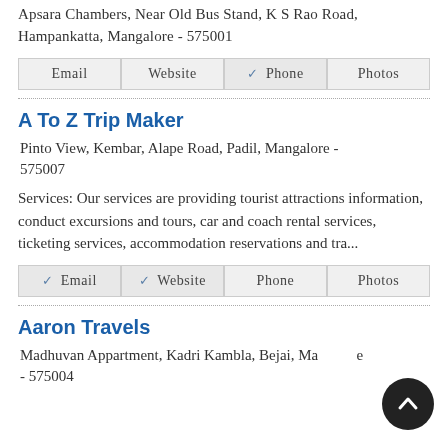Apsara Chambers, Near Old Bus Stand, K S Rao Road, Hampankatta, Mangalore - 575001
Email | Website | ✓ Phone | Photos
A To Z Trip Maker
Pinto View, Kembar, Alape Road, Padil, Mangalore - 575007
Services: Our services are providing tourist attractions information, conduct excursions and tours, car and coach rental services, ticketing services, accommodation reservations and tra...
✓ Email | ✓ Website | Phone | Photos
Aaron Travels
Madhuvan Appartment, Kadri Kambla, Bejai, Mangalore - 575004